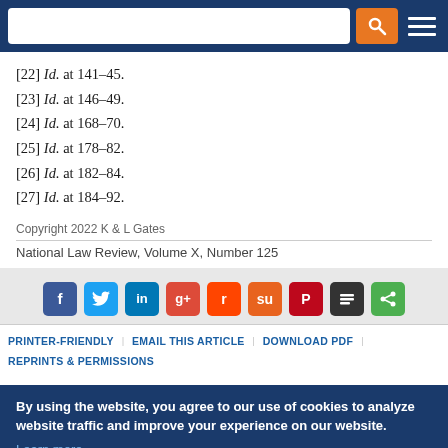Navigation bar with search input and menu
[22] Id. at 141–45.
[23] Id. at 146–49.
[24] Id. at 168–70.
[25] Id. at 178–82.
[26] Id. at 182–84.
[27] Id. at 184–92.
Copyright 2022 K & L Gates
National Law Review, Volume X, Number 125
[Figure (infographic): Social media sharing icons: Facebook, Twitter, LinkedIn, Google+, Reddit, StumbleUpon, Pinterest, Buffer, Share]
PRINTER-FRIENDLY  EMAIL THIS ARTICLE  DOWNLOAD PDF  REPRINTS & PERMISSIONS
By using the website, you agree to our use of cookies to analyze website traffic and improve your experience on our website. Learn more.
X